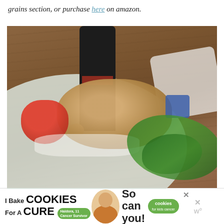grains section, or purchase here on amazon.
[Figure (photo): A bowl of farro grain salad with red pepper, white cheese crumbles, fresh greens/arugula, and a blue cheese cube, on a wooden table with a dark wine bottle in the background and a white napkin.]
[Figure (infographic): Advertisement banner: 'I Bake COOKIES For A CURE' with a girl named Haidora (age 11, Cancer Survivor), 'So can you!' text, green 'cookies for kids cancer' badge, close X button, and a website logo.]